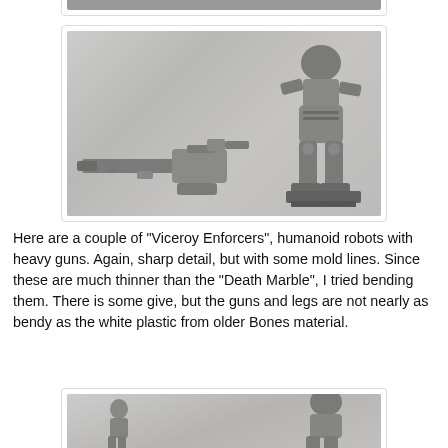[Figure (photo): Top partial photo of miniature figures on a light background, cropped at top of page]
[Figure (photo): Two grey plastic miniatures: on the left a heavy gun weapon piece, on the right a humanoid robot (Viceroy Enforcer) with legs and armor, both on a light grey surface]
Here are a couple of "Viceroy Enforcers", humanoid robots with heavy guns. Again, sharp detail, but with some mold lines. Since these are much thinner than the "Death Marble", I tried bending them. There is some give, but the guns and legs are not nearly as bendy as the white plastic from older Bones material.
[Figure (photo): Bottom partial photo showing two more grey miniature figures on a light background, cropped at bottom of page]